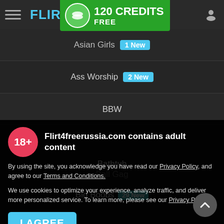FLIRT4FREE — 120 CREDITS FREE
Asian Girls 1 New
Ass Worship 2 New
BBW
Ball Gag
Flirt4freerussia.com contains adult content
By using the site, you acknowledge you have read our Privacy Policy, and agree to our Terms and Conditions.
We use cookies to optimize your experience, analyze traffic, and deliver more personalized service. To learn more, please see our Privacy Policy.
I AGREE